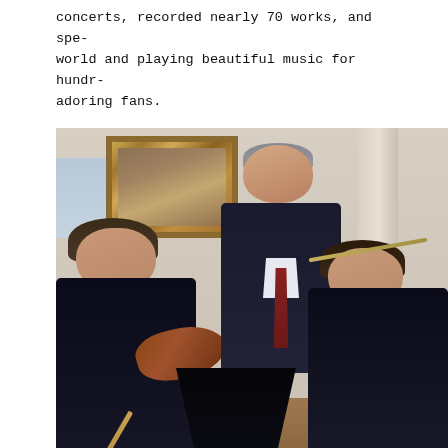concerts, recorded nearly 70 works, and spe- world and playing beautiful music for hundr- adoring fans.
[Figure (photo): A black-and-white/color photograph showing three men in a formal interior setting. A tall man in a dark suit stands in the center holding a violin, smiling. On the left, a younger man with dark bowl-cut hair is seated and playing violin with a bow. On the right, another man is visible with a stringed instrument. A framed painting hangs on the wall behind them. A music stand is visible in the foreground.]